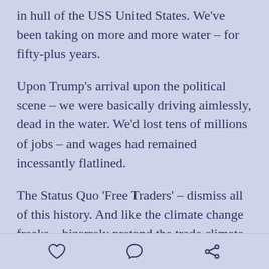in hull of the USS United States. We've been taking on more and more water – for fifty-plus years.
Upon Trump's arrival upon the political scene – we were basically driving aimlessly, dead in the water. We'd lost tens of millions of jobs – and wages had remained incessantly flatlined.
The Status Quo 'Free Traders' – dismiss all of this history. And like the climate change freaks – bizarrely pretend the trade climate right here, right now...is the epitome of free trade perfection. And any deviation therefrom – is cataclysmic.
[heart icon] [comment icon] [share icon]